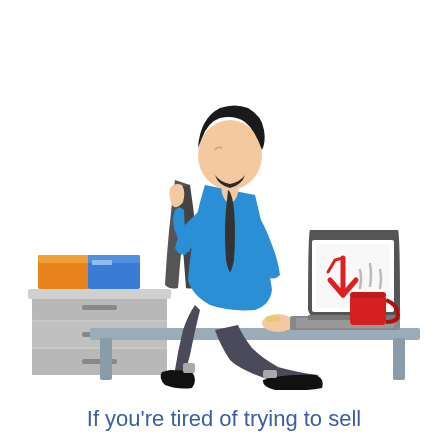[Figure (illustration): A flat-style illustration of a stressed businessman sitting at a desk with his head resting on his hand, looking down at a laptop. The laptop screen shows a red downward-pointing arrow (stock market decline). A steaming red coffee mug sits on the desk next to the laptop. A filing cabinet with orange and blue folders is to the left. A dark chair is behind the man.]
If you're tired of trying to sell